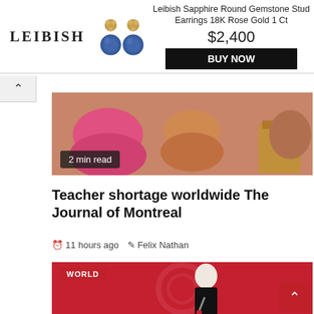[Figure (other): Leibish jewelry advertisement banner with logo, sapphire earring photo, product name, price $2,400, and BUY NOW button]
[Figure (photo): Top cropped image showing a person in a pink top seated, with a '2 min read' badge overlaid in bottom-left]
Teacher shortage worldwide The Journal of Montreal
11 hours ago  Felix Nathan
[Figure (photo): Photo of a woman in black sleeveless top speaking in front of red background with WORLD badge overlay; scroll-up arrow button in bottom-right corner]